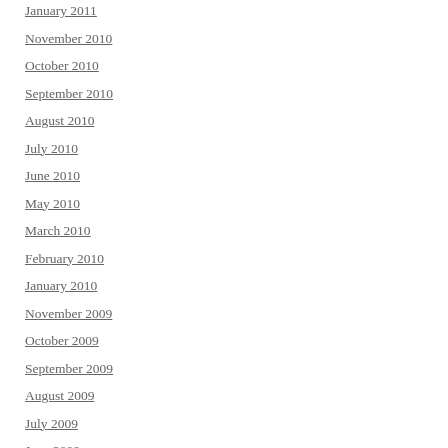January 2011
November 2010
October 2010
September 2010
August 2010
July 2010
June 2010
May 2010
March 2010
February 2010
January 2010
November 2009
October 2009
September 2009
August 2009
July 2009
June 2009
May 2009
April 2009